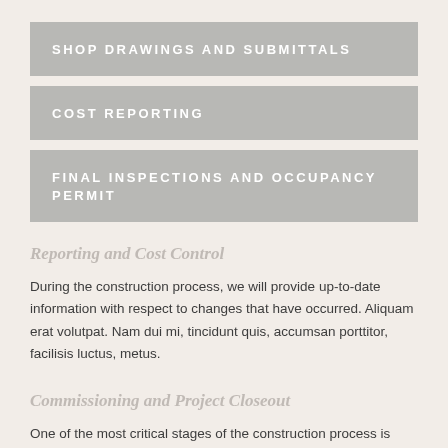SHOP DRAWINGS AND SUBMITTALS
COST REPORTING
FINAL INSPECTIONS AND OCCUPANCY PERMIT
Reporting and Cost Control
During the construction process, we will provide up-to-date information with respect to changes that have occurred. Aliquam erat volutpat. Nam dui mi, tincidunt quis, accumsan porttitor, facilisis luctus, metus.
Commissioning and Project Closeout
One of the most critical stages of the construction process is